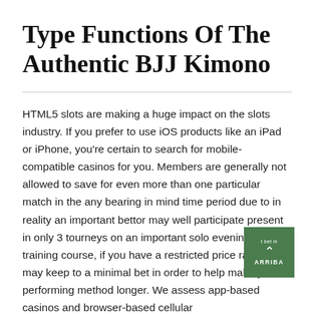Type Functions Of The Authentic BJJ Kimono
HTML5 slots are making a huge impact on the slots industry. If you prefer to use iOS products like an iPad or iPhone, you're certain to search for mobile-compatible casinos for you. Members are generally not allowed to save for even more than one particular match in the any bearing in mind time period due to in reality an important bettor may well participate present in only 3 tourneys on an important solo evening. Of training course, if you have a restricted price range, you may keep to a minimal bet in order to help make your performing method longer. We assess app-based casinos and browser-based cellular